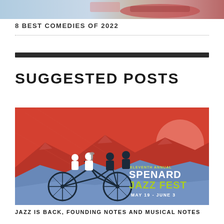[Figure (photo): Top strip of a colorful image, partially cropped]
8 BEST COMEDIES OF 2022
[Figure (illustration): Eleventh Annual Spenard Jazz Fest promotional poster showing musicians on a tandem bicycle against a red sky with mountains, May 19 - June 3]
JAZZ IS BACK, FOUNDING NOTES AND MUSICAL NOTES